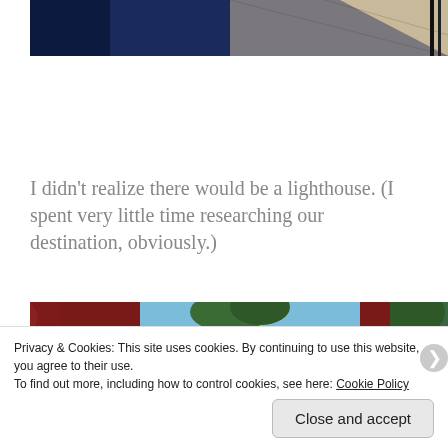[Figure (photo): Top portion of a photo showing a walkway or plaza with shadows and a railing visible at the right edge. Blue and beige tones.]
I didn't realize there would be a lighthouse. (I spent very little time researching our destination, obviously.)
[Figure (photo): Bottom photo showing red columns or pillars against a blue sky with trees visible in the background.]
Privacy & Cookies: This site uses cookies. By continuing to use this website, you agree to their use.
To find out more, including how to control cookies, see here: Cookie Policy